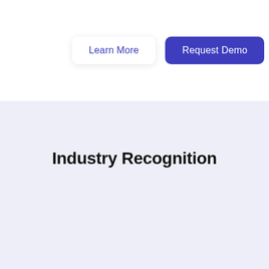[Figure (screenshot): Two UI buttons: 'Learn More' (white background, blue text, rounded) and 'Request Demo' (dark navy/indigo background, white text, rounded)]
Industry Recognition